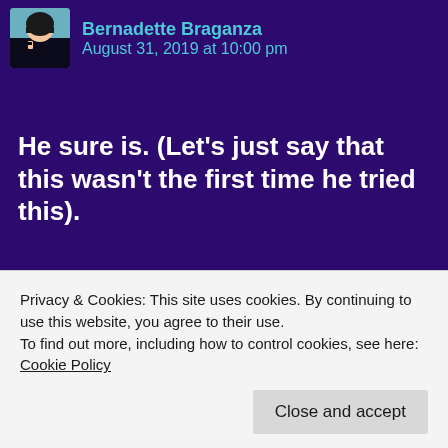Bernadette Braganza
August 31, 2019 at 10:00 pm
He sure is. (Let’s just say that this wasn’t the first time he tried this).
★ Liked by 1 person
Reply
Privacy & Cookies: This site uses cookies. By continuing to use this website, you agree to their use.
To find out more, including how to control cookies, see here: Cookie Policy
Close and accept